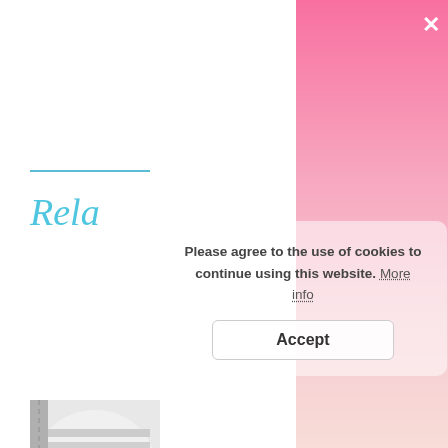[Figure (screenshot): Background webpage content partially visible: a cyan/teal italic heading beginning with 'Rela', a horizontal cyan underline, and two product/home images at the bottom with italic cyan captions starting with 'House' and 'iry US home']
[Figure (screenshot): Pink gradient modal overlay with a white close (×) button in the top-right corner]
Please agree to the use of cookies to continue using this website. More info
Accept